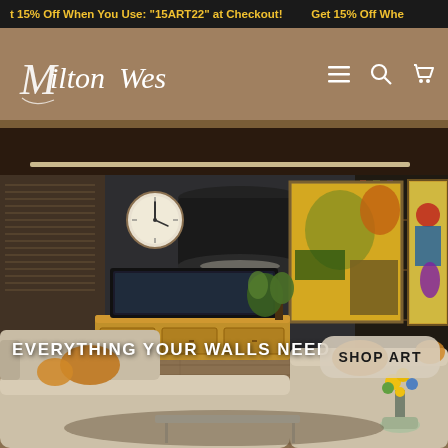Get 15% Off When You Use: "15ART22" at Checkout!   Get 15% Off Whe...
[Figure (screenshot): Milton Wes brand header with tan/brown background, script logo text 'Milton Wes', hamburger menu icon, search icon, and cart icon on the right.]
[Figure (photo): Interior living room scene with dark walls, wooden ceiling, a large black drum pendant light, two colorful abstract paintings on the wall, a wall clock, a flat-screen TV on a wooden console, a light beige sectional sofa with gold/orange throw pillows, wooden flooring, a vase of sunflowers, and a glass coffee table. Overlay text reads 'EVERYTHING YOUR WALLS NEED' and a button reads 'SHOP ART'.]
EVERYTHING YOUR WALLS NEED
SHOP ART